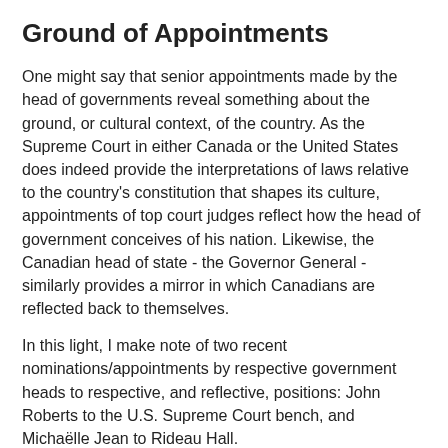Ground of Appointments
One might say that senior appointments made by the head of governments reveal something about the ground, or cultural context, of the country. As the Supreme Court in either Canada or the United States does indeed provide the interpretations of laws relative to the country's constitution that shapes its culture, appointments of top court judges reflect how the head of government conceives of his nation. Likewise, the Canadian head of state - the Governor General - similarly provides a mirror in which Canadians are reflected back to themselves.
In this light, I make note of two recent nominations/appointments by respective government heads to respective, and reflective, positions: John Roberts to the U.S. Supreme Court bench, and Michaëlle Jean to Rideau Hall.
Prime Minister Paul Martin describes our new Governor General like this: